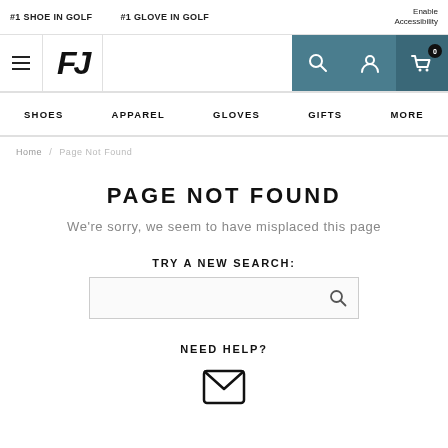#1 SHOE IN GOLF   #1 GLOVE IN GOLF   Enable Accessibility
[Figure (logo): FootJoy FJ logo with hamburger menu, search, account, and cart icons]
SHOES   APPAREL   GLOVES   GIFTS   MORE
Home / Page Not Found
PAGE NOT FOUND
We're sorry, we seem to have misplaced this page
TRY A NEW SEARCH:
[Figure (other): Search input box with magnifying glass icon]
NEED HELP?
[Figure (other): Email/envelope icon]